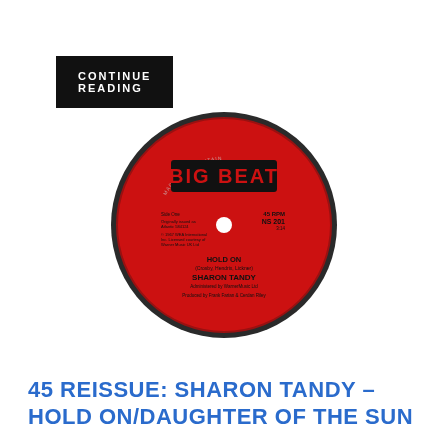CONTINUE READING
[Figure (illustration): A red vinyl 45 RPM record with a Big Beat label. The label shows 'BIG BEAT' in a black rectangle, 'HOLD ON' as the song title, 'SHARON TANDY' as the artist, and catalog number NS 201, 45 RPM. Small text includes songwriter credits and production credits.]
45 REISSUE: SHARON TANDY – HOLD ON/DAUGHTER OF THE SUN